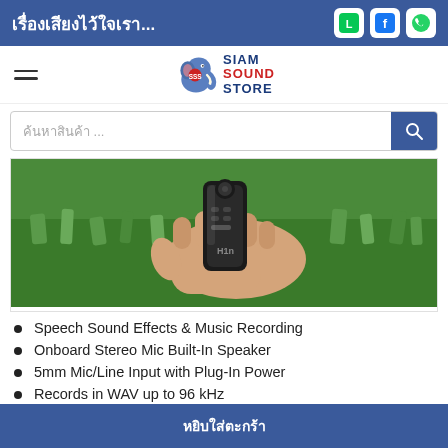เรื่องเสียงไว้ใจเรา...
[Figure (logo): Siam Sound Store logo with blue elephant and red/blue text]
ค้นหาสินค้า ...
[Figure (photo): Hand holding Zoom H1n portable audio recorder against green grass background]
Speech Sound Effects & Music Recording
Onboard Stereo Mic Built-In Speaker
5mm Mic/Line Input with Plug-In Power
Records in WAV up to 96 kHz
หยิบใส่ตะกร้า